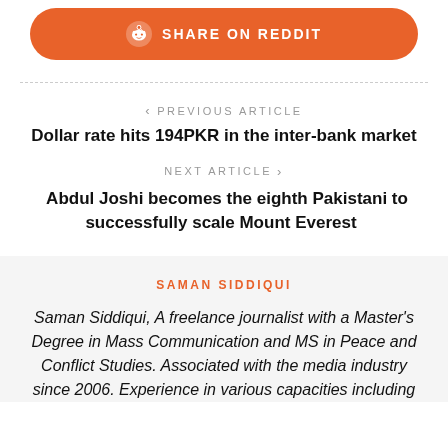[Figure (other): Share on Reddit button (orange pill-shaped button with Reddit alien icon)]
< PREVIOUS ARTICLE
Dollar rate hits 194PKR in the inter-bank market
NEXT ARTICLE >
Abdul Joshi becomes the eighth Pakistani to successfully scale Mount Everest
SAMAN SIDDIQUI
Saman Siddiqui, A freelance journalist with a Master's Degree in Mass Communication and MS in Peace and Conflict Studies. Associated with the media industry since 2006. Experience in various capacities including